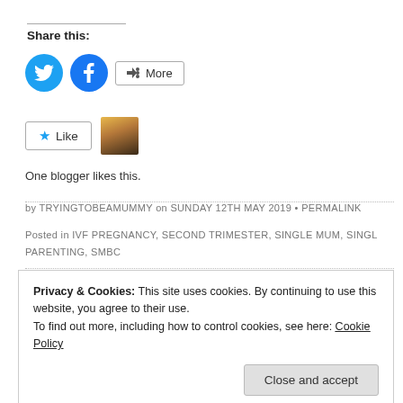Share this:
[Figure (other): Twitter and Facebook social share icon buttons, plus a More button]
[Figure (other): Like button with star icon, and a blogger avatar thumbnail]
One blogger likes this.
by TRYINGTOBEAMUMMY on SUNDAY 12TH MAY 2019 • PERMALINK
Posted in IVF PREGNANCY, SECOND TRIMESTER, SINGLE MUM, SINGLE PARENTING, SMBC
Privacy & Cookies: This site uses cookies. By continuing to use this website, you agree to their use.
To find out more, including how to control cookies, see here: Cookie Policy
Close and accept